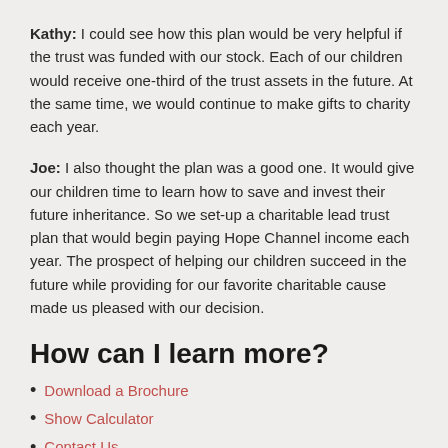Kathy: I could see how this plan would be very helpful if the trust was funded with our stock. Each of our children would receive one-third of the trust assets in the future. At the same time, we would continue to make gifts to charity each year.
Joe: I also thought the plan was a good one. It would give our children time to learn how to save and invest their future inheritance. So we set-up a charitable lead trust plan that would begin paying Hope Channel income each year. The prospect of helping our children succeed in the future while providing for our favorite charitable cause made us pleased with our decision.
How can I learn more?
Download a Brochure
Show Calculator
Contact Us